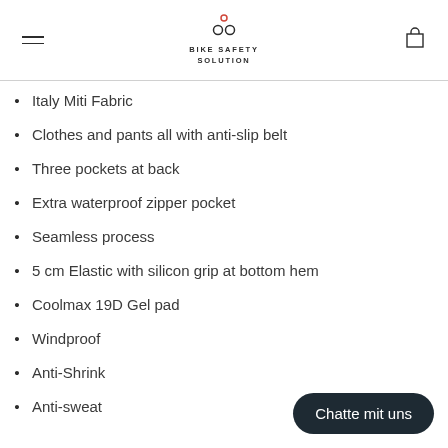BIKE SAFETY SOLUTION
Italy Miti Fabric
Clothes and pants all with anti-slip belt
Three pockets at back
Extra waterproof zipper pocket
Seamless process
5 cm Elastic with silicon grip at bottom hem
Coolmax 19D Gel pad
Windproof
Anti-Shrink
Anti-sweat
Chatte mit uns